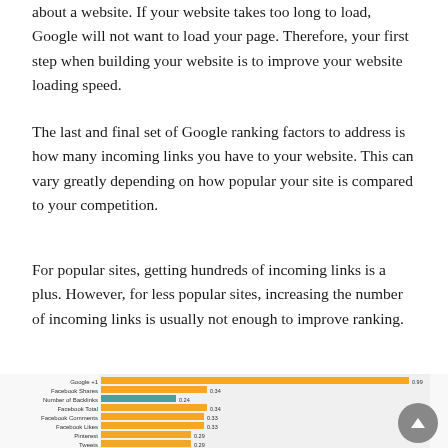about a website. If your website takes too long to load, Google will not want to load your page. Therefore, your first step when building your website is to improve your website loading speed.
The last and final set of Google ranking factors to address is how many incoming links you have to your website. This can vary greatly depending on how popular your site is compared to your competition.
For popular sites, getting hundreds of incoming links is a plus. However, for less popular sites, increasing the number of incoming links is usually not enough to improve ranking.
[Figure (bar-chart): Horizontal bar chart showing Google ranking factors with Google +1 having the highest value at 0.99, followed by Facebook Shares and Facebook Total at 0.34]